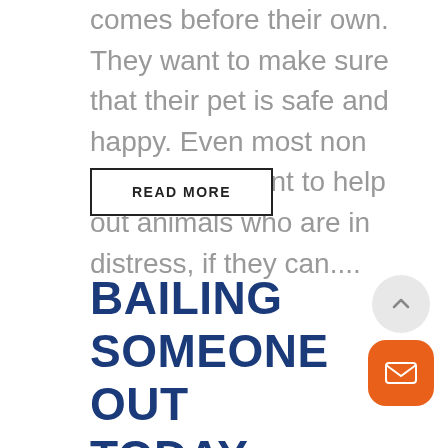comes before their own. They want to make sure that their pet is safe and happy. Even most non pet owners want to help out animals who are in distress, if they can....
READ MORE
BAILING SOMEONE OUT TODAY WASN'T A PART OF THE PLAN